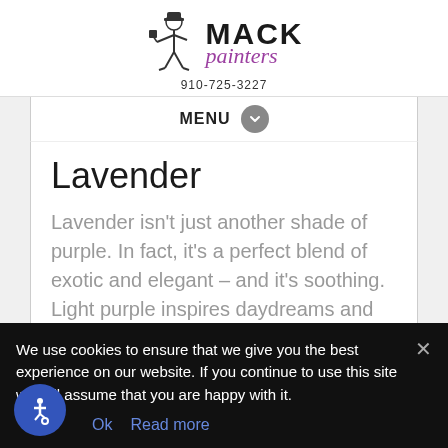[Figure (logo): Mack Painters logo with painter figure illustration, bold MACK text, cursive purple 'painters' text, and phone number 910-725-3227]
MENU
Lavender
Lavender isn't just another shade of purple. In fact, it's a perfect blend of exotic and elegant – and it's soothing. Light purple inspires daydreams and calm, and it's associated with luxury and royalty.
We use cookies to ensure that we give you the best experience on our website. If you continue to use this site we will assume that you are happy with it.
Ok   Read more